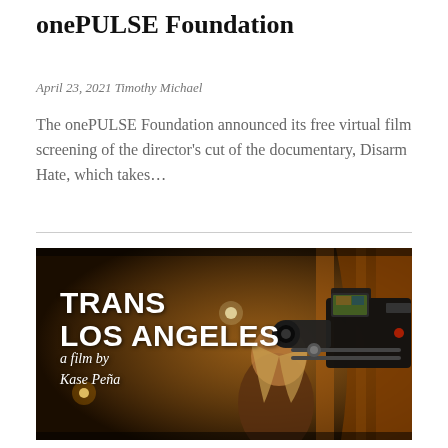onePULSE Foundation
April 23, 2021 Timothy Michael
The onePULSE Foundation announced its free virtual film screening of the director's cut of the documentary, Disarm Hate, which takes...
[Figure (photo): Film promotional image for 'Trans Los Angeles, a film by Kase Peña' showing a film camera in the foreground with a woman with blonde hair in the background, in a warm golden-toned scene. Text overlay reads: TRANS LOS ANGELES a film by Kase Peña.]